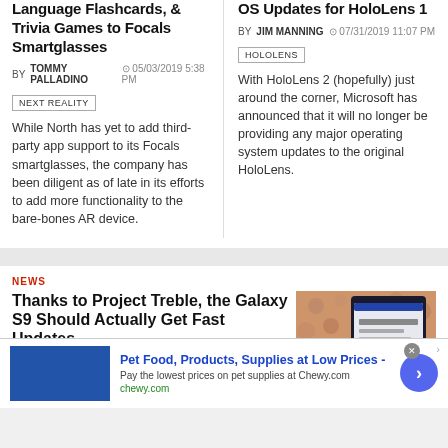Language Flashcards, & Trivia Games to Focals Smartglasses
BY TOMMY PALLADINO  05/03/2019 5:38 PM
NEXT REALITY
While North has yet to add third-party app support to its Focals smartglasses, the company has been diligent as of late in its efforts to add more functionality to the bare-bones AR device.
OS Updates for HoloLens 1
BY JIM MANNING  07/31/2019 11:07 PM
HOLOLENS
With HoloLens 2 (hopefully) just around the corner, Microsoft has announced that it will no longer be providing any major operating system updates to the original HoloLens.
NEWS
Thanks to Project Treble, the Galaxy S9 Should Actually Get Fast Updates
[Figure (photo): Smartphone showing a software update screen]
BY AMBOY MANALO  02/25/2018 7:06 PM
ANDROID
Pet Food, Products, Supplies at Low Prices - Pay the lowest prices on pet supplies at Chewy.com chewy.com